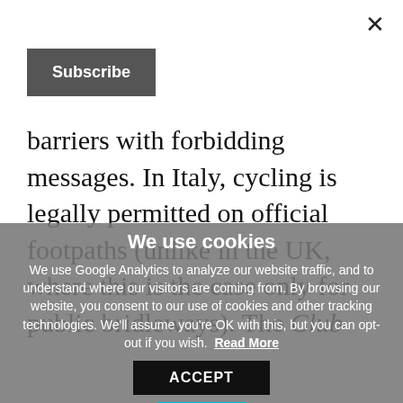[Figure (screenshot): Close button (×) in top right corner]
[Figure (screenshot): Subscribe button with dark grey background]
barriers with forbidding messages. In Italy, cycling is legally permitted on official footpaths (unlike in the UK, where this is the case only for public bridleways). The Club
We use cookies
We use Google Analytics to analyze our website traffic, and to understand where our visitors are coming from. By browsing our website, you consent to our use of cookies and other tracking technologies. We'll assume you're OK with this, but you can opt-out if you wish. Read More
[Figure (screenshot): ACCEPT button with black background and teal underline]